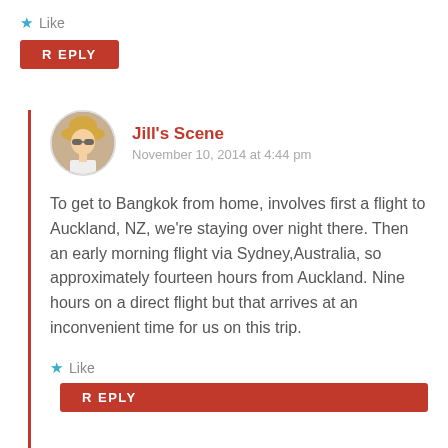Like
REPLY
Jill's Scene
November 10, 2014 at 4:44 pm
To get to Bangkok from home, involves first a flight to Auckland, NZ, we're staying over night there. Then an early morning flight via Sydney,Australia, so approximately fourteen hours from Auckland. Nine hours on a direct flight but that arrives at an inconvenient time for us on this trip.
Like
REPLY